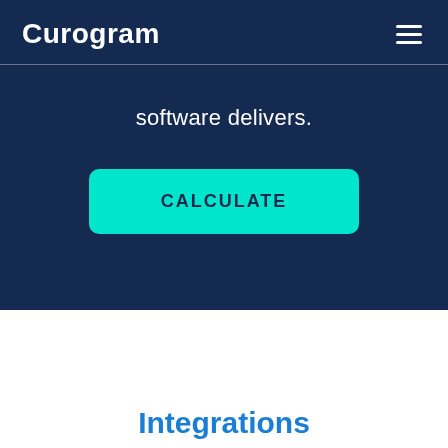Curogram
software delivers.
[Figure (screenshot): Teal/cyan CALCULATE button on dark navy background]
Integrations